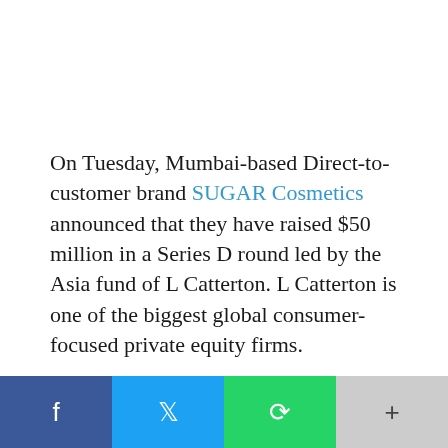On Tuesday, Mumbai-based Direct-to-customer brand SUGAR Cosmetics announced that they have raised $50 million in a Series D round led by the Asia fund of L Catterton. L Catterton is one of the biggest global consumer-focused private equity firms.
Along with existing investors such as A91 Partners, Elevation Capital, and India Quotient, the...